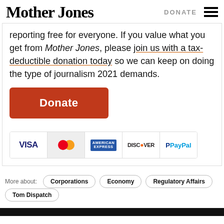Mother Jones | DONATE
reporting free for everyone. If you value what you get from Mother Jones, please join us with a tax-deductible donation today so we can keep on doing the type of journalism 2021 demands.
[Figure (other): Orange Donate button followed by payment method icons: Visa, Mastercard, American Express, Discover, PayPal]
More about: Corporations | Economy | Regulatory Affairs
Tom Dispatch
RELATED